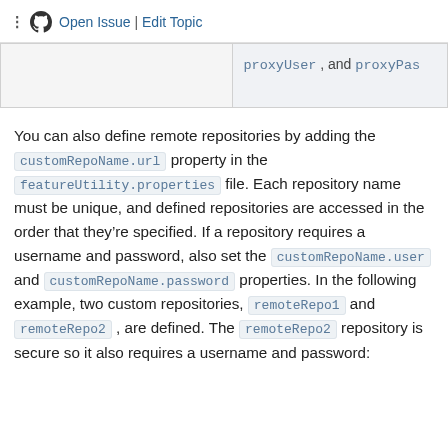Open Issue | Edit Topic
|  | proxyUser , and proxyPas |
You can also define remote repositories by adding the customRepoName.url property in the featureUtility.properties file. Each repository name must be unique, and defined repositories are accessed in the order that they’re specified. If a repository requires a username and password, also set the customRepoName.user and customRepoName.password properties. In the following example, two custom repositories, remoteRepo1 and remoteRepo2 , are defined. The remoteRepo2 repository is secure so it also requires a username and password: